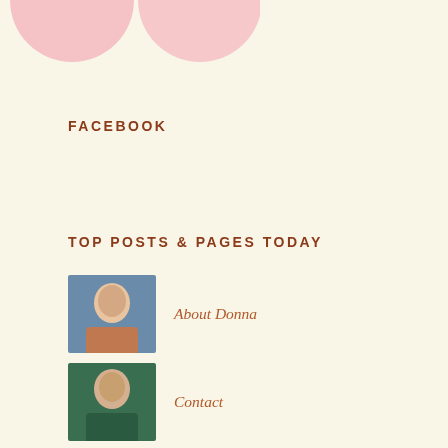[Figure (illustration): Two pink circles/blobs at the top left of the page, partially cropped]
FACEBOOK
TOP POSTS & PAGES TODAY
About Donna
Contact
Great Blue—poem
We Love With All Our Heart